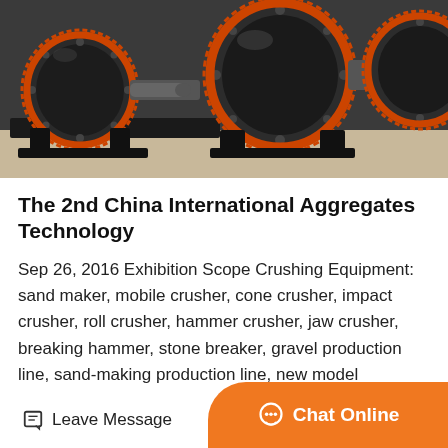[Figure (photo): Industrial ball mills / grinding machines photographed in a factory setting. Two large cylindrical grinding mills with black drum bodies, orange/red gear rings, and metal support frames on a concrete floor.]
The 2nd China International Aggregates Technology
Sep 26, 2016 Exhibition Scope Crushing Equipment: sand maker, mobile crusher, cone crusher, impact crusher, roll crusher, hammer crusher, jaw crusher, breaking hammer, stone breaker, gravel production line, sand-making production line, new model crusher…
Get Price
Leave Message
Chat Online